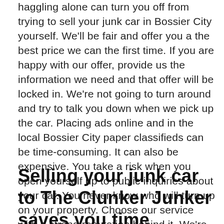haggling alone can turn you off from trying to sell your junk car in Bossier City yourself. We'll be fair and offer you a the best price we can the first time. If you are happy with our offer, provide us the information we need and that offer will be locked in. We're not going to turn around and try to talk you down when we pick up the car. Placing ads online and in the local Bossier City paper classifieds can be time-consuming. It can also be expensive. You take a risk when you open yourself up to public inquiries about your car. You never know who will turn up on your property. Choose our service with a strong reputation behind it. We're reliable, efficient, and true to our word.
Selling your junk car to The Clunker Junker saves you time